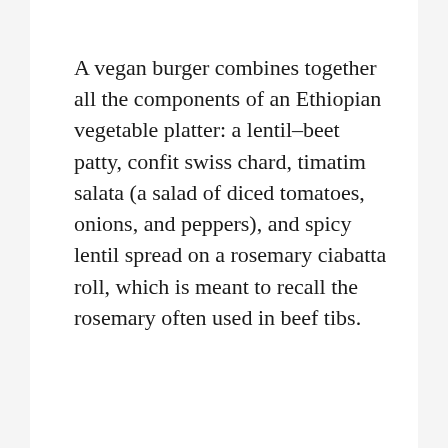A vegan burger combines together all the components of an Ethiopian vegetable platter: a lentil–beet patty, confit swiss chard, timatim salata (a salad of diced tomatoes, onions, and peppers), and spicy lentil spread on a rosemary ciabatta roll, which is meant to recall the rosemary often used in beef tibs.